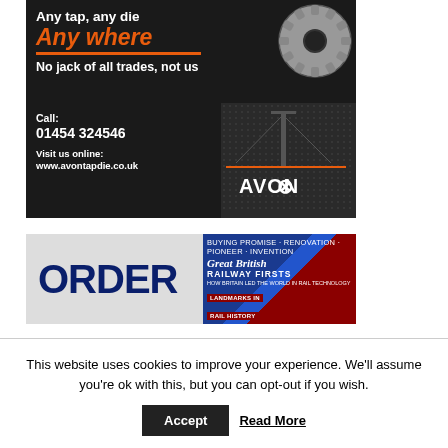[Figure (illustration): Advertisement for Avon Tap and Die on dark background. Text: 'Any tap, any die Any where No jack of all trades, not us'. Contact info: 'Call: 01454 324546 Visit us online: www.avontapdie.co.uk'. Avon logo with bridge icon on right side.]
[Figure (illustration): Advertisement for ordering a book titled 'Great British Railway Firsts – Landmarks in Rail History'. Left side shows 'ORDER' in large dark blue text on light background. Right side shows the book cover.]
This website uses cookies to improve your experience. We'll assume you're ok with this, but you can opt-out if you wish.
Accept    Read More